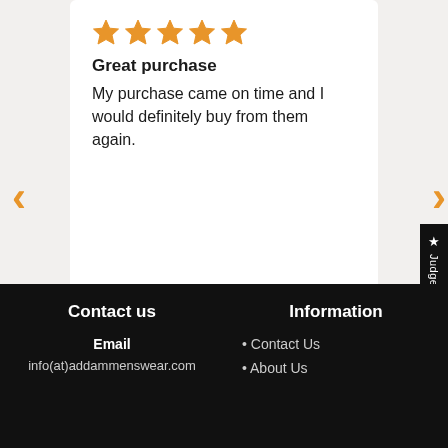[Figure (other): Five orange star rating icons]
Great purchase
My purchase came on time and I would definitely buy from them again.
Caelon Ales
Prè London Roma Jeans - Grey
04/07/2022
Contact us
Information
Email
info(at)addammenswear.com
• Contact Us
• About Us